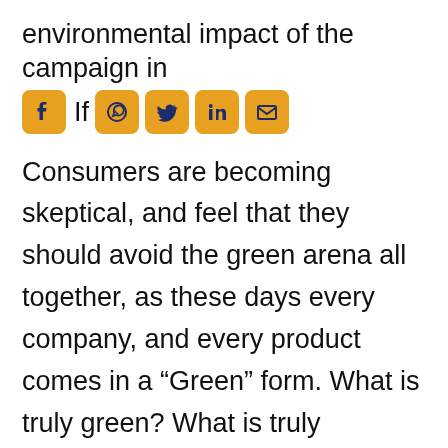environmental impact of the campaign in
[Figure (other): Row of social media share icons: Facebook, WhatsApp, Twitter, LinkedIn, Email — orange/yellow rounded square buttons with dark blue icons — followed by the text 'If']
Consumers are becoming skeptical, and feel that they should avoid the green arena all together, as these days every company, and every product comes in a “Green” form. What is truly green? What is truly sustainable? Many individuals believe that all organic clothing is “green”, these words are thought to be interchangeable. People don’t realize that a product sold to them as “green” could in fact be manufactured using chemicals, or utilizing a process which is damaging to the